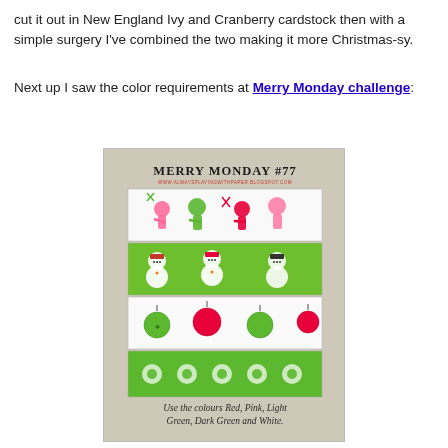cut it out in New England Ivy and Cranberry cardstock then with a simple surgery I've combined the two making it more Christmas-sy.
Next up I saw the color requirements at Merry Monday challenge:
[Figure (illustration): Merry Monday #77 challenge card showing four horizontal strips of Christmas fabric/paper patterns: gingerbread men in red/pink/green on white, snowmen on green background, Christmas ornaments on white, and green floral/snowflake pattern. Caption reads: Use the colours Red, Pink, Light Green, Dark Green and White.]